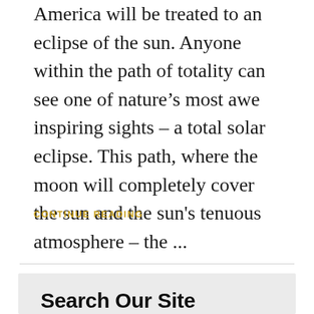America will be treated to an eclipse of the sun. Anyone within the path of totality can see one of nature's most awe inspiring sights – a total solar eclipse. This path, where the moon will completely cover the sun and the sun's tenuous atmosphere – the ...
CONTINUE READING
Search Our Site